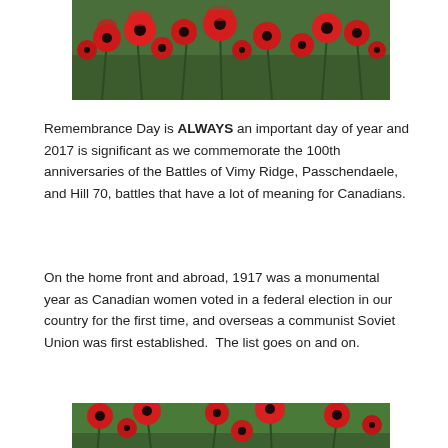[Figure (photo): A field of red poppies with green stems — top photo]
Remembrance Day is ALWAYS an important day of year and 2017 is significant as we commemorate the 100th anniversaries of the Battles of Vimy Ridge, Passchendaele, and Hill 70, battles that have a lot of meaning for Canadians.
On the home front and abroad, 1917 was a monumental year as Canadian women voted in a federal election in our country for the first time, and overseas a communist Soviet Union was first established.  The list goes on and on.
[Figure (photo): A field of red poppies with green foliage — bottom photo (partially visible)]